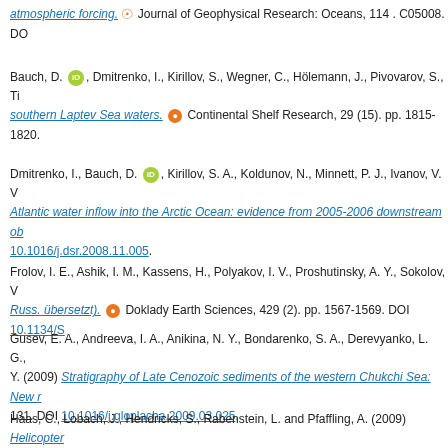atmospheric forcing. Journal of Geophysical Research: Oceans, 114 . C05008. DO
Bauch, D., Dmitrenko, I., Kirillov, S., Wegner, C., Hölemann, J., Pivovarov, S., Ti... southern Laptev Sea waters. Continental Shelf Research, 29 (15). pp. 1815-1820.
Dmitrenko, I., Bauch, D., Kirillov, S. A., Koldunov, N., Minnett, P. J., Ivanov, V. V... Atlantic water inflow into the Arctic Ocean: evidence from 2005-2006 downstream ob... 10.1016/j.dsr.2008.11.005.
Frolov, I. E., Ashik, I. M., Kassens, H., Polyakov, I. V., Proshutinsky, A. Y., Sokolov, V... Russ. übersetzt). Doklady Earth Sciences, 429 (2). pp. 1567-1569. DOI 10.1134/S
Gusev, E. A., Andreeva, I. A., Anikina, N. Y., Bondarenko, S. A., Derevyanko, L. G., ... Y. (2009) Stratigraphy of Late Cenozoic sediments of the western Chukchi Sea: New r... 131. DOI 10.1016/j.gloplacha.2009.03.025.
Haas, C., Lobach, J., Hendricks, S., Rabenstein, L. and Pfaffling, A. (2009) Helicopter... Geophysics, 67 (3). pp. 234-241. DOI 10.1016/j.jappgeo.2008.05.005.